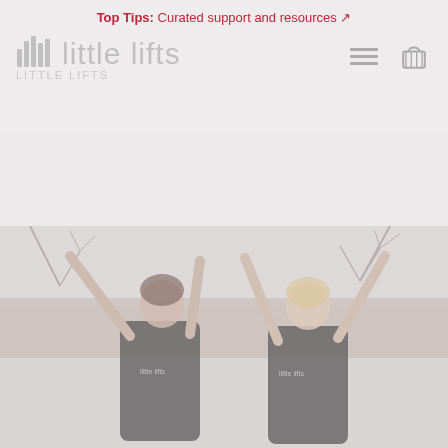Top Tips: Curated support and resources ↗ | little lifts
[Figure (photo): Two women wearing Little Lifts branded black vests with arms raised in celebration, outdoors against a brick wall and bare winter trees background. The photo is faded/muted in tone.]